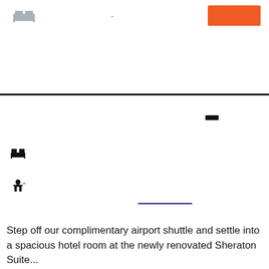[Figure (screenshot): Hotel booking interface screenshot with bed icon, search fields, orange button, thick separator line, room type icons, and a link underline]
Step off our complimentary airport shuttle and settle into a spacious hotel room at the newly renovated Sheraton Suite...